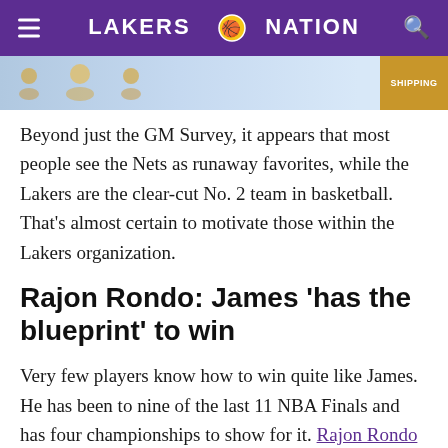LAKERS NATION
[Figure (other): Advertisement banner with blue background, gold trophy images, and a SHIPPING badge]
Beyond just the GM Survey, it appears that most people see the Nets as runaway favorites, while the Lakers are the clear-cut No. 2 team in basketball. That’s almost certain to motivate those within the Lakers organization.
Rajon Rondo: James ‘has the blueprint’ to win
Very few players know how to win quite like James. He has been to nine of the last 11 NBA Finals and has four championships to show for it. Rajon Rondo recognized this when discussing the Lakers’